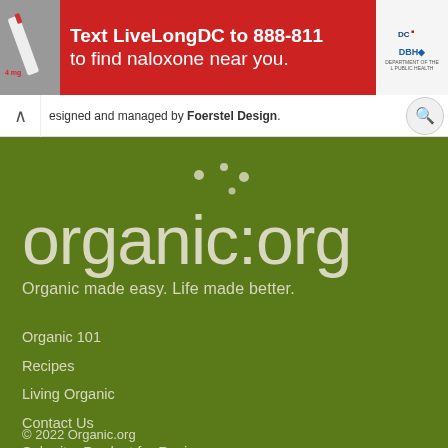[Figure (infographic): Red banner advertisement: Text LiveLongDC to 888-811 to find naloxone near you. Logos for DC and DBH shown on right.]
designed and managed by Foerstel Design.
[Figure (logo): organic:org logo with decorative dots above, on green background. Tagline: Organic made easy. Life made better.]
Organic 101
Recipes
Living Organic
Contact Us
Submit a Product for Review
© 2022 Organic.org